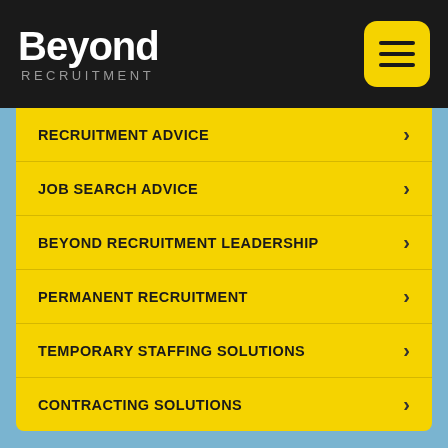Beyond Recruitment
RECRUITMENT ADVICE
JOB SEARCH ADVICE
BEYOND RECRUITMENT LEADERSHIP
PERMANENT RECRUITMENT
TEMPORARY STAFFING SOLUTIONS
CONTRACTING SOLUTIONS
Welcome to the Beyond Recruitment blog. Here you'll be able to find career and job search advice from our expert Recruitment Consultants, as well as market insights from both ourselves and our industry leading partners on a variety of topics; including leadership, the economy and